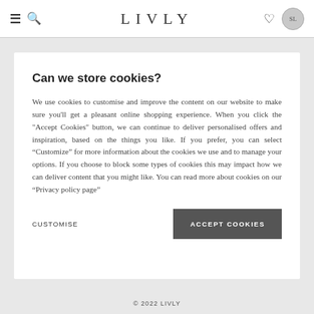LIVLY
Can we store cookies?
We use cookies to customise and improve the content on our website to make sure you'll get a pleasant online shopping experience. When you click the "Accept Cookies" button, we can continue to deliver personalised offers and inspiration, based on the things you like. If you prefer, you can select “Customize” for more information about the cookies we use and to manage your options. If you choose to block some types of cookies this may impact how we can deliver content that you might like. You can read more about cookies on our “Privacy policy page”
CUSTOMISE
ACCEPT COOKIES
© 2022 LIVLY